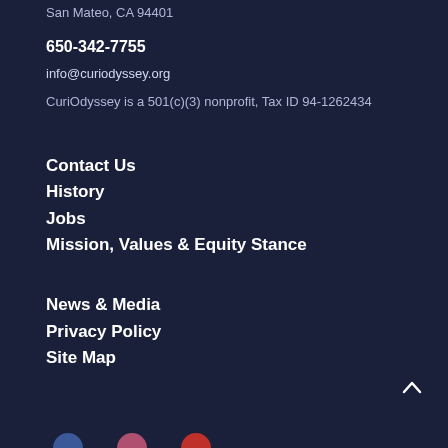San Mateo, CA 94401
650-342-7755
info@curiodyssey.org
CuriOdyssey is a 501(c)(3) nonprofit, Tax ID 94-1262434
Contact Us
History
Jobs
Mission, Values & Equity Stance
News & Media
Privacy Policy
Site Map
[Figure (other): Back to top arrow icon and partial social media icons at bottom of page]